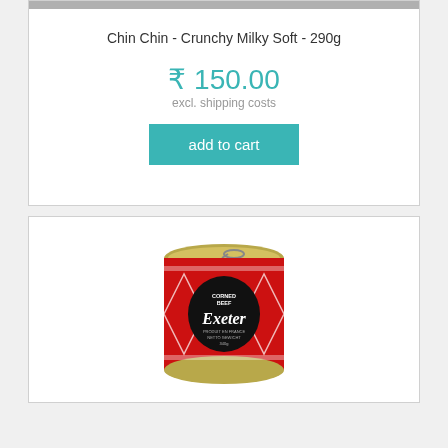Chin Chin - Crunchy Milky Soft - 290g
₹ 150.00
excl. shipping costs
add to cart
[Figure (photo): Exeter Corned Beef can, red label with black diamond, text reads CORNED BEEF Exeter PRODUIT EN FRANCE NETTO GEWICHT]